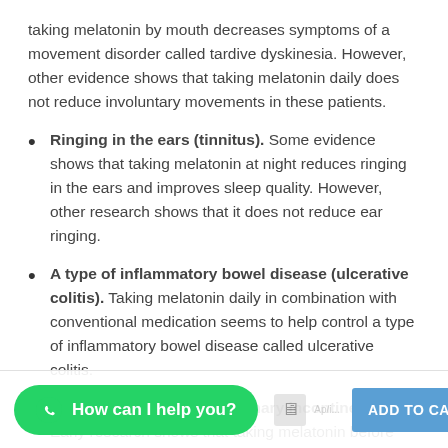taking melatonin by mouth decreases symptoms of a movement disorder called tardive dyskinesia. However, other evidence shows that taking melatonin daily does not reduce involuntary movements in these patients.
Ringing in the ears (tinnitus). Some evidence shows that taking melatonin at night reduces ringing in the ears and improves sleep quality. However, other research shows that it does not reduce ear ringing.
A type of inflammatory bowel disease (ulcerative colitis). Taking melatonin daily in combination with conventional medication seems to help control a type of inflammatory bowel disease called ulcerative colitis.
Loss of bladder control (urinary incontinence). Early research shows that taking melatonin before bed does not
[Figure (screenshot): WhatsApp 'How can I help you?' green button overlay and 'ADD TO CART' blue button at the bottom of the page, with product icon and text below]